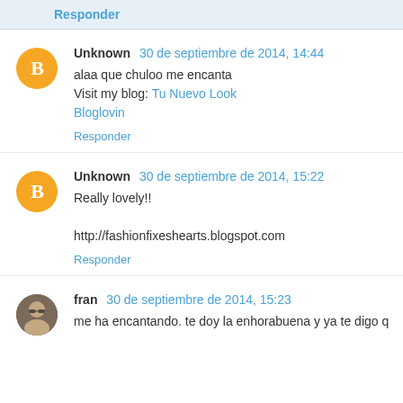Responder
Unknown 30 de septiembre de 2014, 14:44
alaa que chuloo me encanta
Visit my blog: Tu Nuevo Look
Bloglovin
Responder
Unknown 30 de septiembre de 2014, 15:22
Really lovely!!
http://fashionfixeshearts.blogspot.com
Responder
fran 30 de septiembre de 2014, 15:23
me ha encantando. te doy la enhorabuena y ya te digo q...